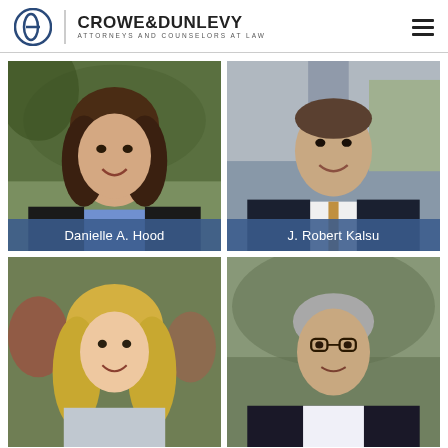CROWE & DUNLEVY — ATTORNEYS AND COUNSELORS AT LAW
[Figure (photo): Professional headshot of Danielle A. Hood, woman with long dark hair, smiling, wearing black blazer over blue shirt, outdoor background with trees]
Danielle A. Hood
[Figure (photo): Professional headshot of J. Robert Kalsu, man in dark suit with patterned tie, smiling, urban outdoor background]
J. Robert Kalsu
[Figure (photo): Professional headshot of a woman with long blonde hair, smiling, outdoor background with red flowers]
[Figure (photo): Professional headshot of an older man with glasses and gray hair, wearing dark suit, outdoor background]